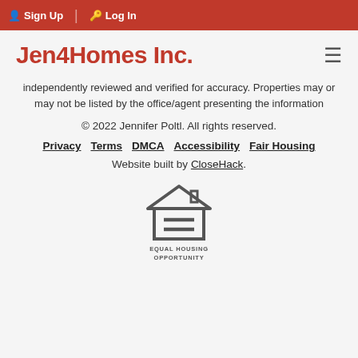Sign Up  Log In
Jen4Homes Inc.
independently reviewed and verified for accuracy. Properties may or may not be listed by the office/agent presenting the information
© 2022 Jennifer Poltl. All rights reserved.
Privacy   Terms   DMCA   Accessibility   Fair Housing
Website built by CloseHack.
[Figure (logo): Equal Housing Opportunity logo — house outline with an equals sign inside, and text 'EQUAL HOUSING OPPORTUNITY' below]